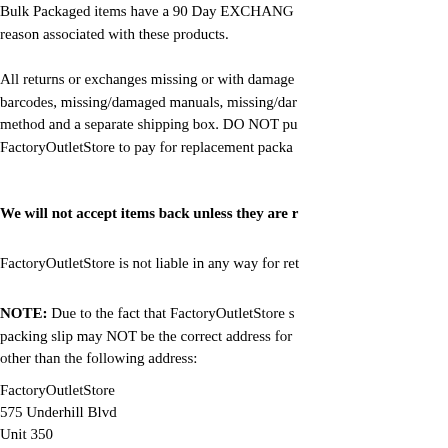Bulk Packaged items have a 90 Day EXCHANGE only policy. There is no reason associated with these products.
All returns or exchanges missing or with damaged packaging, missing barcodes, missing/damaged manuals, missing/damaged accessories, must use another method and a separate shipping box. DO NOT put labels directly on the item. Contact FactoryOutletStore to pay for replacement packaging.
We will not accept items back unless they are r
FactoryOutletStore is not liable in any way for ret
NOTE: Due to the fact that FactoryOutletStore sh packing slip may NOT be the correct address for other than the following address:
FactoryOutletStore
575 Underhill Blvd
Unit 350
Syosset, NY 11791
Original shipping costs are non-refundable and th return/exchange form, a copy of your receipt, and provides tracking and insurance for your package your order, or any shipping costs you incur while
Click Here for Return/Exchange Form.
Brand New, Certified Refurbishe